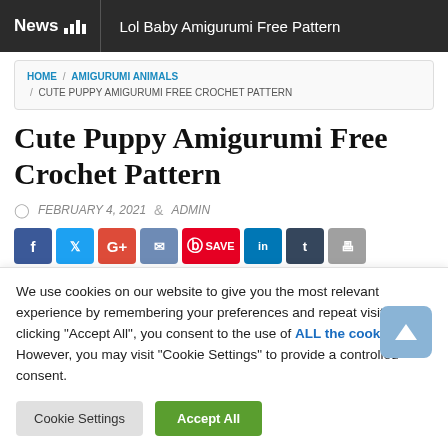News | Lol Baby Amigurumi Free Pattern
HOME / AMIGURUMI ANIMALS / CUTE PUPPY AMIGURUMI FREE CROCHET PATTERN
Cute Puppy Amigurumi Free Crochet Pattern
FEBRUARY 4, 2021  ADMIN
[Figure (screenshot): Social media share buttons: Facebook, Twitter, Google+, Email, Pinterest Save, LinkedIn, Tumblr, Print]
We use cookies on our website to give you the most relevant experience by remembering your preferences and repeat visits. By clicking "Accept All", you consent to the use of ALL the cookies. However, you may visit "Cookie Settings" to provide a controlled consent.
Cookie Settings  Accept All